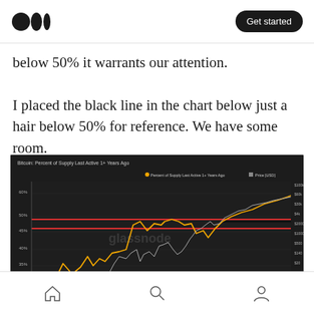Medium logo | Get started
below 50% it warrants our attention.

I placed the black line in the chart below just a hair below 50% for reference. We have some room.
[Figure (continuous-plot): Line chart showing Bitcoin percent of supply last active 1+ years ago (orange line) and Bitcoin price in USD (gray/white line) over time. Two horizontal red lines and one black reference line are drawn just below 50%. The y-axis on the left shows percentages (10% to 60%), and the right y-axis shows price in USD. The Glassnode watermark is visible in the center.]
Home | Search | Profile